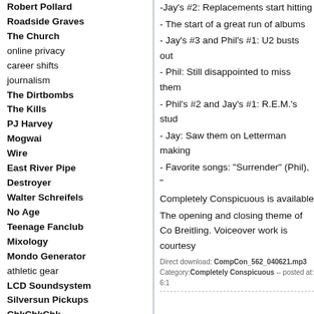Robert Pollard
Roadside Graves
The Church
online privacy
career shifts
journalism
The Dirtbombs
The Kills
PJ Harvey
Mogwai
Wire
East River Pipe
Destroyer
Walter Schreifels
No Age
Teenage Fanclub
Mixology
Mondo Generator
athletic gear
LCD Soundsystem
Silversun Pickups
ChkChkChk
The Dead Weather
Everyone Everywhere
Midlake
The Whigs
Quasi
Dinosaur Jr.
Elliott Smith
Jason Collett
The Apples in Stereo
guilty pleasures
The King Khan and BBQ
-Jay's #2: Replacements start hitting
- The start of a great run of albums
- Jay's #3 and Phil's #1: U2 busts out
- Phil: Still disappointed to miss them
- Phil's #2 and Jay's #1: R.E.M.'s stud
- Jay: Saw them on Letterman making
- Favorite songs: "Surrender" (Phil), "
Completely Conspicuous is available
The opening and closing theme of Co Breitling. Voiceover work is courtesy
Direct download: CompCon_562_040621.mp3 Category:Completely Conspicuous -- posted at: 6:1